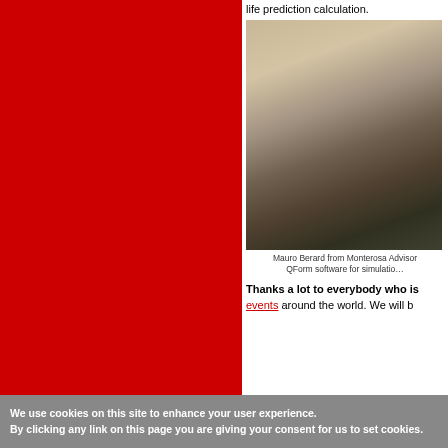life prediction calculation.
[Figure (photo): Group of people seated in a room attending a presentation or seminar, with someone standing at the front.]
Mauro Berard from Monterosa Advisor QForm software for simulation
Thanks a lot to everybody who is events around the world. We will b
We use cookies on this site to enhance your user experience. By clicking any link on this page you are giving your consent for us to set cookies.